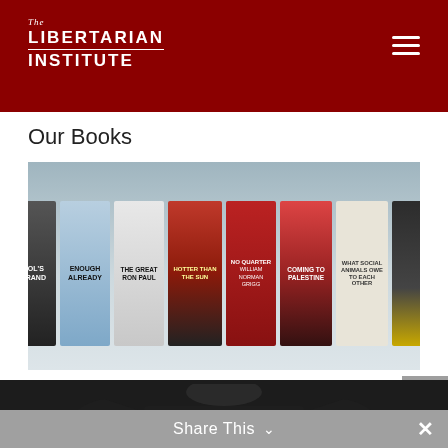[Figure (logo): The Libertarian Institute logo in white text on dark red background, with hamburger menu icon top right]
Our Books
[Figure (photo): A row of book covers displayed against a gray gradient background, including titles: Fool's Errand, Enough Already, The Great Ron Paul, Hotter Than the Sun, No Quarter (William Norman Grigg), Coming to Palestine, What Social Animals Owe to Each Other, and another book with handshake cover]
[Figure (photo): Black Libertarian Institute branded crewneck sweatshirt displayed against dark background]
Share This